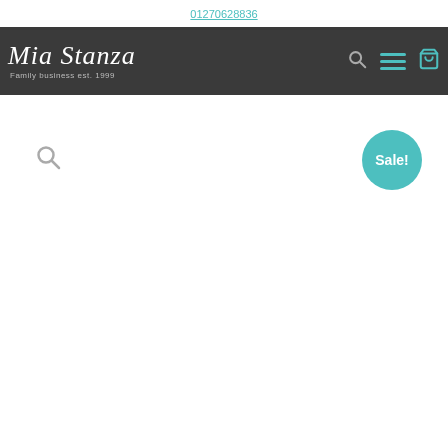01270628836
[Figure (logo): Mia Stanza cursive logo with tagline 'Family business est. 1999', dark navigation bar with search, hamburger menu, and cart icons in teal]
[Figure (infographic): Search icon (magnifying glass) in grey on white background, and a teal circular Sale! badge in upper right of page body]